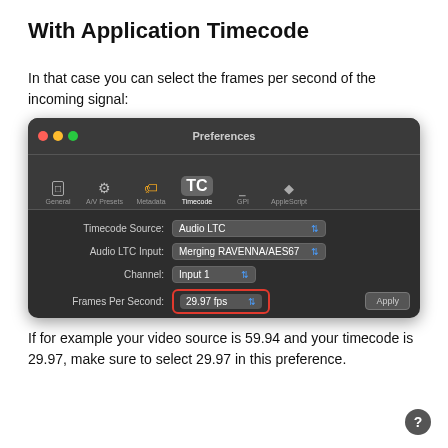With Application Timecode
In that case you can select the frames per second of the incoming signal:
[Figure (screenshot): macOS Preferences window showing Timecode settings with Timecode Source: Audio LTC, Audio LTC Input: Merging RAVENNA/AES67, Channel: Input 1, Frames Per Second: 29.97 fps (highlighted with red border). Apply button visible at bottom right.]
If for example your video source is 59.94 and your timecode is 29.97, make sure to select 29.97 in this preference.